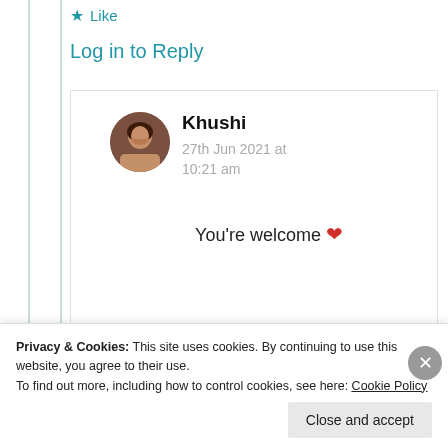★ Like
Log in to Reply
Khushi
27th Jun 2021 at 10:21 am
You're welcome ❤
★ Liked by 1 person
Privacy & Cookies: This site uses cookies. By continuing to use this website, you agree to their use.
To find out more, including how to control cookies, see here: Cookie Policy
Close and accept